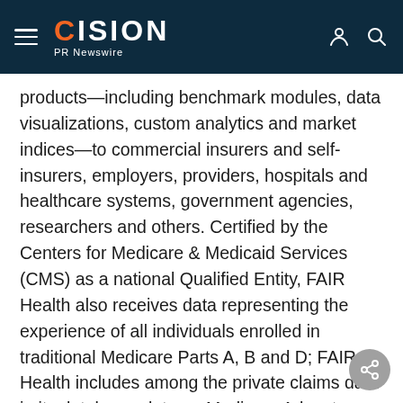CISION PR Newswire
products—including benchmark modules, data visualizations, custom analytics and market indices—to commercial insurers and self-insurers, employers, providers, hospitals and healthcare systems, government agencies, researchers and others. Certified by the Centers for Medicare & Medicaid Services (CMS) as a national Qualified Entity, FAIR Health also receives data representing the experience of all individuals enrolled in traditional Medicare Parts A, B and D; FAIR Health includes among the private claims data in its database, data on Medicare Advantage enrollees. FAIR Health can produce insightful analytic reports and data products based on combined Medicare and commercial claims data.